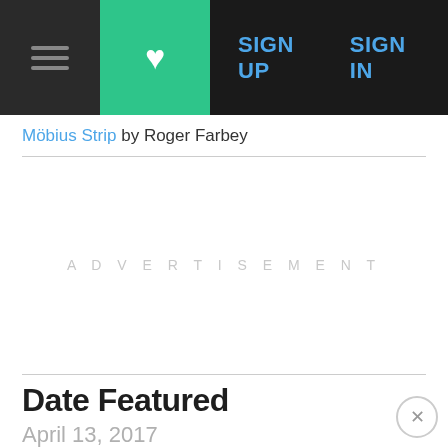SIGN UP  SIGN IN
Möbius Strip by Roger Farbey
[Figure (other): Advertisement placeholder area with light grey text 'ADVERTISEMENT']
Date Featured
April 13, 2017